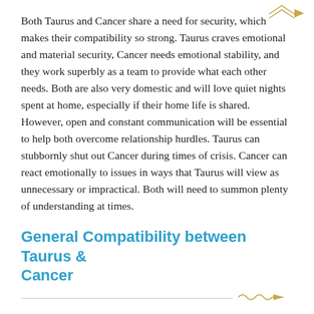Both Taurus and Cancer share a need for security, which makes their compatibility so strong. Taurus craves emotional and material security, Cancer needs emotional stability, and they work superbly as a team to provide what each other needs. Both are also very domestic and will love quiet nights spent at home, especially if their home life is shared. However, open and constant communication will be essential to help both overcome relationship hurdles. Taurus can stubbornly shut out Cancer during times of crisis. Cancer can react emotionally to issues in ways that Taurus will view as unnecessary or impractical. Both will need to summon plenty of understanding at times.
General Compatibility between Taurus & Cancer
[Figure (illustration): Decorative arrow/divider ornament in gold/yellow color pointing right, used as a section separator]
Taurus's grounded and practical nature can help to keep Cancer's intense emotions in check. Cancer can help Taurus...